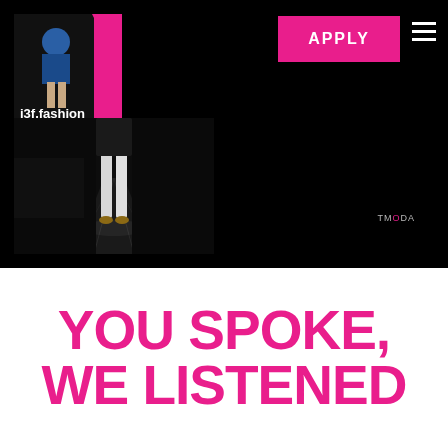[Figure (screenshot): Black navigation bar with i3f.fashion logo on left, pink APPLY button in center-right, hamburger menu icon on far right]
[Figure (photo): Fashion runway photo showing model from behind in white pants on dark runway]
[Figure (photo): Fashion runway photo showing two male models walking on runway with audience seated on sides, TMODA watermark]
YOU SPOKE, WE LISTENED